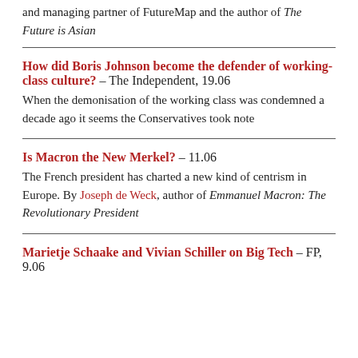and managing partner of FutureMap and the author of The Future is Asian
How did Boris Johnson become the defender of working-class culture? – The Independent, 19.06
When the demonisation of the working class was condemned a decade ago it seems the Conservatives took note
Is Macron the New Merkel? – 11.06
The French president has charted a new kind of centrism in Europe. By Joseph de Weck, author of Emmanuel Macron: The Revolutionary President
Marietje Schaake and Vivian Schiller on Big Tech – FP, 9.06